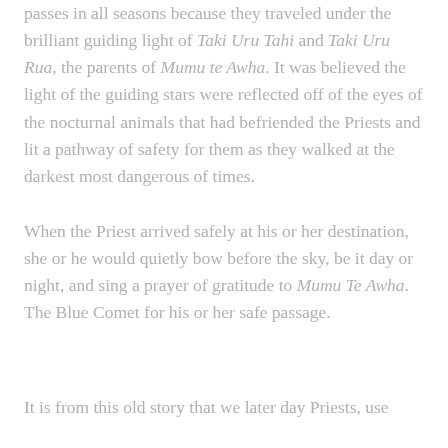passes in all seasons because they traveled under the brilliant guiding light of Taki Uru Tahi and Taki Uru Rua, the parents of Mumu te Awha. It was believed the light of the guiding stars were reflected off of the eyes of the nocturnal animals that had befriended the Priests and lit a pathway of safety for them as they walked at the darkest most dangerous of times.
When the Priest arrived safely at his or her destination, she or he would quietly bow before the sky, be it day or night, and sing a prayer of gratitude to Mumu Te Awha. The Blue Comet for his or her safe passage.
It is from this old story that we later day Priests, use the Blue Comet for our own spiritual wellbeing and